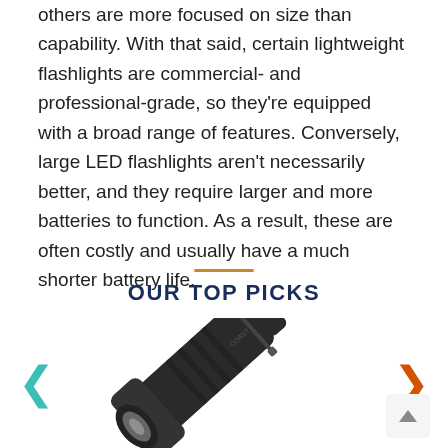others are more focused on size than capability. With that said, certain lightweight flashlights are commercial- and professional-grade, so they're equipped with a broad range of features. Conversely, large LED flashlights aren't necessarily better, and they require larger and more batteries to function. As a result, these are often costly and usually have a much shorter battery life.
OUR TOP PICKS
[Figure (photo): A black Coast brand LED flashlight photographed diagonally with navigation arrows on either side and a scroll-to-top button in the bottom right corner.]